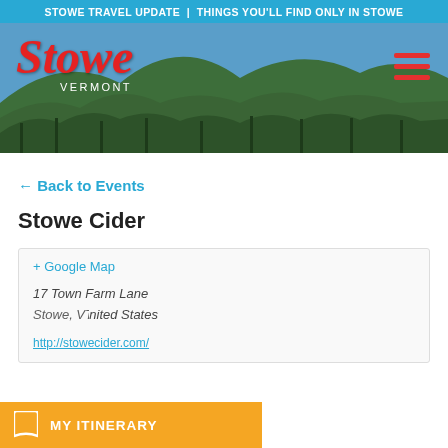STOWE TRAVEL UPDATE | THINGS YOU'LL FIND ONLY IN STOWE
[Figure (photo): Hero banner with green forested mountain background, Stowe Vermont logo in red script on left, hamburger menu icon on right]
← Back to Events
Stowe Cider
+ Google Map
17 Town Farm Lane
Stowe, VT 05472 United States
http://stowecider.com/
MY ITINERARY